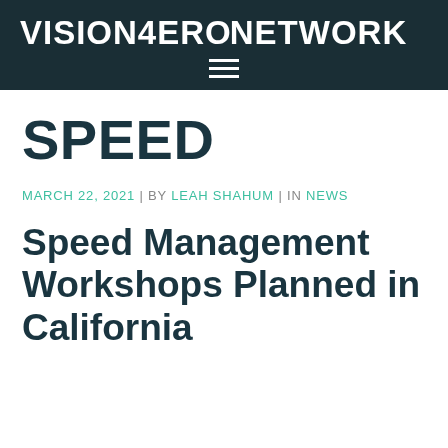VISION ZERO NETWORK
SPEED
MARCH 22, 2021 | BY LEAH SHAHUM | IN NEWS
Speed Management Workshops Planned in California